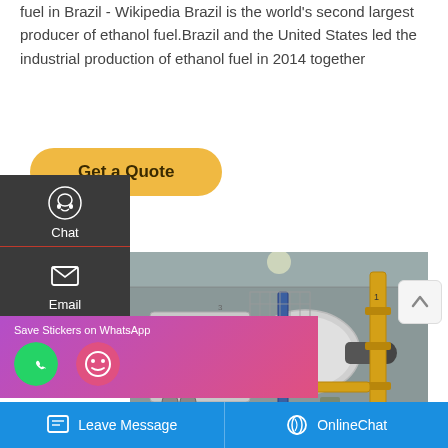fuel in Brazil - Wikipedia Brazil is the world's second largest producer of ethanol fuel.Brazil and the United States led the industrial production of ethanol fuel in 2014 together
Get a Quote
[Figure (screenshot): Website sidebar with Chat, Email, and Contact icons on dark grey background]
[Figure (photo): Industrial boiler room with large white and grey machinery, yellow pipes and fittings, industrial equipment]
Save Stickers on WhatsApp
Leave Message   OnlineChat